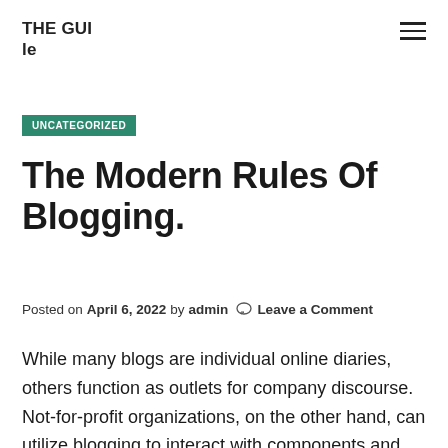THE GUIle
UNCATEGORIZED
The Modern Rules Of Blogging.
Posted on April 6, 2022 by admin  Leave a Comment
While many blogs are individual online diaries, others function as outlets for company discourse. Not-for-profit organizations, on the other hand, can utilize blogging to interact with components and also discuss important concerns. A lot of blogs integrate text, digital photos, web links to various other blog sites, and occasionally advertisements. A multitude of blogs are popular because viewers can publish an only readable remarks. The